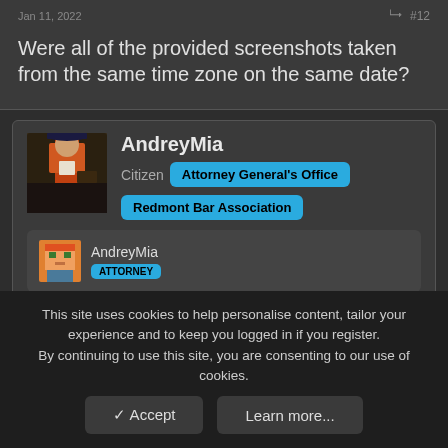Jan 11, 2022  #12
Were all of the provided screenshots taken from the same time zone on the same date?
AndreyMia
Citizen  Attorney General's Office
Redmont Bar Association
AndreyMia
ATTORNEY
Jan 11, 2022  #13
This site uses cookies to help personalise content, tailor your experience and to keep you logged in if you register.
By continuing to use this site, you are consenting to our use of cookies.
✓ Accept   Learn more...